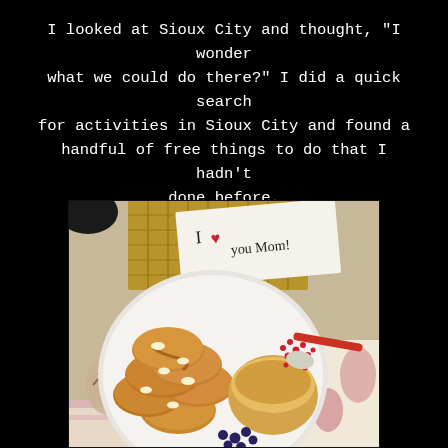I looked at Sioux City and thought, "I wonder what we could do there?" I did a quick search for activities in Sioux City and found a handful of free things to do that I hadn't done before.
[Figure (photo): Overhead photo of a white plate with mini pancakes topped with butter pats and syrup, a jar of syrup, red berries on a spoon, and blueberries scattered. In the background is a handwritten note on paper reading 'I love you Mom!' with a heart drawn in red, placed on a woven mat.]